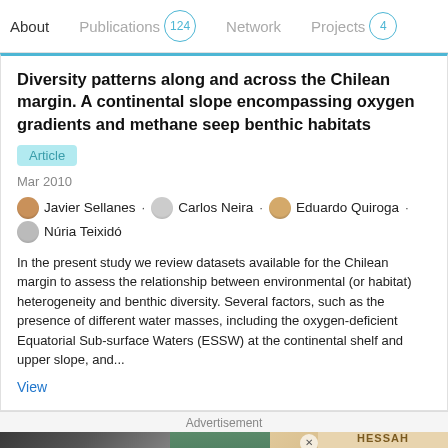About   Publications 124   Network   Projects 4
Diversity patterns along and across the Chilean margin. A continental slope encompassing oxygen gradients and methane seep benthic habitats
Article
Mar 2010
Javier Sellanes · Carlos Neira · Eduardo Quiroga · Núria Teixidó
In the present study we review datasets available for the Chilean margin to assess the relationship between environmental (or habitat) heterogeneity and benthic diversity. Several factors, such as the presence of different water masses, including the oxygen-deficient Equatorial Sub-surface Waters (ESSW) at the continental shelf and upper slope, and...
View
Advertisement